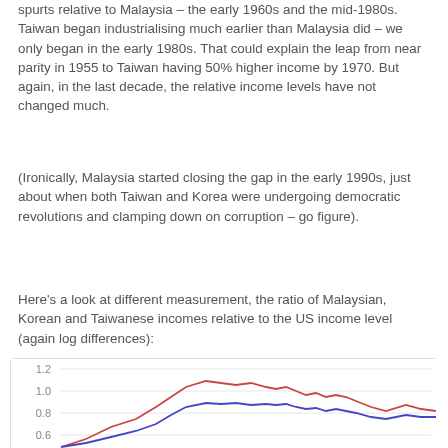spurts relative to Malaysia – the early 1960s and the mid-1980s. Taiwan began industrialising much earlier than Malaysia did – we only began in the early 1980s. That could explain the leap from near parity in 1955 to Taiwan having 50% higher income by 1970. But again, in the last decade, the relative income levels have not changed much.
(Ironically, Malaysia started closing the gap in the early 1990s, just about when both Taiwan and Korea were undergoing democratic revolutions and clamping down on corruption – go figure).
Here's a look at different measurement, the ratio of Malaysian, Korean and Taiwanese incomes relative to the US income level (again log differences):
[Figure (line-chart): Line chart showing two lines (red and blue) representing ratios of incomes relative to US income level, with y-axis values from 0.4 to 1.2, partially visible at bottom of page]